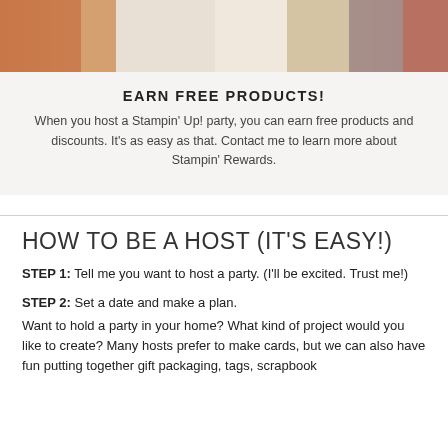[Figure (photo): Cropped photo of people at a crafting/stamping party table with cookies, cards, and craft supplies visible]
EARN FREE PRODUCTS!
When you host a Stampin' Up! party, you can earn free products and discounts. It's as easy as that. Contact me to learn more about Stampin' Rewards.
HOW TO BE A HOST (IT'S EASY!)
STEP 1: Tell me you want to host a party. (I'll be excited. Trust me!)
STEP 2: Set a date and make a plan.
Want to hold a party in your home? What kind of project would you like to create? Many hosts prefer to make cards, but we can also have fun putting together gift packaging, tags, scrapbook